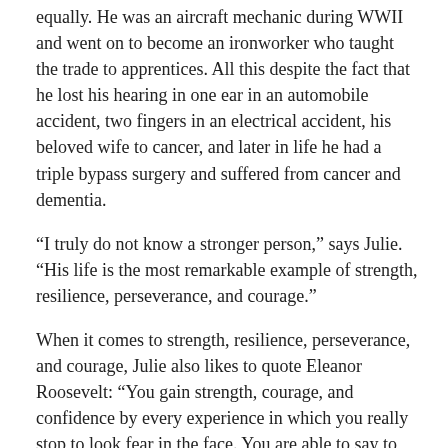equally. He was an aircraft mechanic during WWII and went on to become an ironworker who taught the trade to apprentices. All this despite the fact that he lost his hearing in one ear in an automobile accident, two fingers in an electrical accident, his beloved wife to cancer, and later in life he had a triple bypass surgery and suffered from cancer and dementia.
“I truly do not know a stronger person,” says Julie. “His life is the most remarkable example of strength, resilience, perseverance, and courage.”
When it comes to strength, resilience, perseverance, and courage, Julie also likes to quote Eleanor Roosevelt: “You gain strength, courage, and confidence by every experience in which you really stop to look fear in the face. You are able to say to yourself, ‘I have lived through this horror, I can take the next thing that comes along.’ You must do the thing you think you cannot do.”